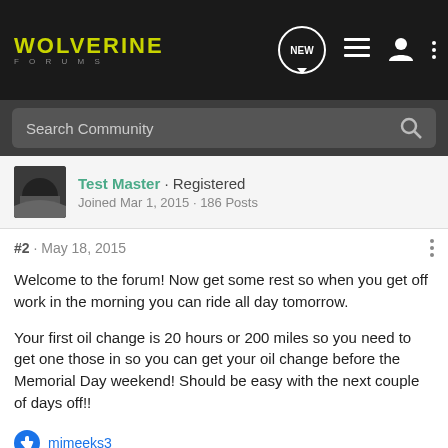WOLVERINE FORUMS
Search Community
Test Master · Registered
Joined Mar 1, 2015 · 186 Posts
#2 · May 18, 2015
Welcome to the forum! Now get some rest so when you get off work in the morning you can ride all day tomorrow.
Your first oil change is 20 hours or 200 miles so you need to get one those in so you can get your oil change before the Memorial Day weekend! Should be easy with the next couple of days off!!
mimeeks3